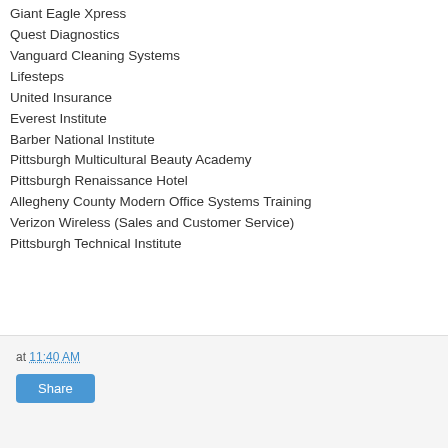Giant Eagle Xpress
Quest Diagnostics
Vanguard Cleaning Systems
Lifesteps
United Insurance
Everest Institute
Barber National Institute
Pittsburgh Multicultural Beauty Academy
Pittsburgh Renaissance Hotel
Allegheny County Modern Office Systems Training
Verizon Wireless (Sales and Customer Service)
Pittsburgh Technical Institute
at 11:40 AM  Share